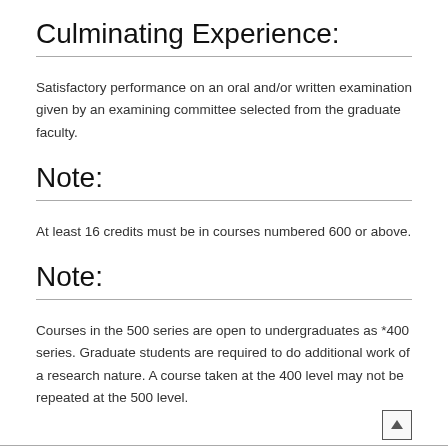Culminating Experience:
Satisfactory performance on an oral and/or written examination given by an examining committee selected from the graduate faculty.
Note:
At least 16 credits must be in courses numbered 600 or above.
Note:
Courses in the 500 series are open to undergraduates as *400 series. Graduate students are required to do additional work of a research nature. A course taken at the 400 level may not be repeated at the 500 level.